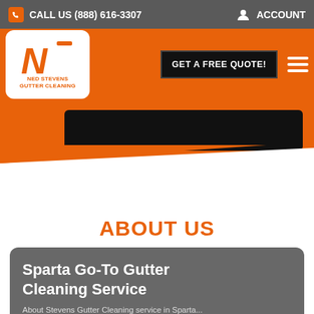CALL US (888) 616-3307  ACCOUNT
[Figure (logo): Ned Stevens Gutter Cleaning logo — stylized orange N on white background with company name text]
GET A FREE QUOTE!
[Figure (photo): Hero image banner — dark/black photo partially visible with orange background]
ABOUT US
Sparta Go-To Gutter Cleaning Service
About Stevens Gutter Cleaning service in Sparta...